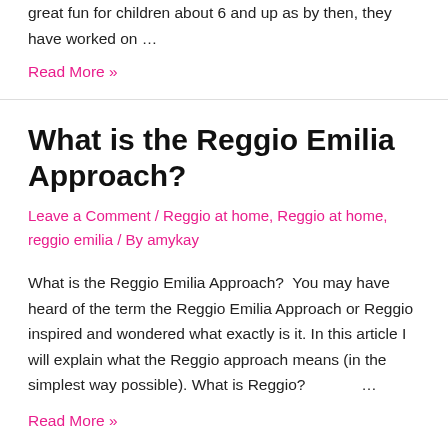great fun for children about 6 and up as by then, they have worked on …
Read More »
What is the Reggio Emilia Approach?
Leave a Comment / Reggio at home, Reggio at home, reggio emilia / By amykay
What is the Reggio Emilia Approach?  You may have heard of the term the Reggio Emilia Approach or Reggio inspired and wondered what exactly is it. In this article I will explain what the Reggio approach means (in the simplest way possible). What is Reggio?     …
Read More »